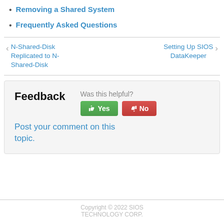Removing a Shared System
Frequently Asked Questions
← N-Shared-Disk Replicated to N-Shared-Disk    Setting Up SIOS DataKeeper →
Feedback  Was this helpful?  Yes  No  Post your comment on this topic.
Copyright © 2022 SIOS TECHNOLOGY CORP.